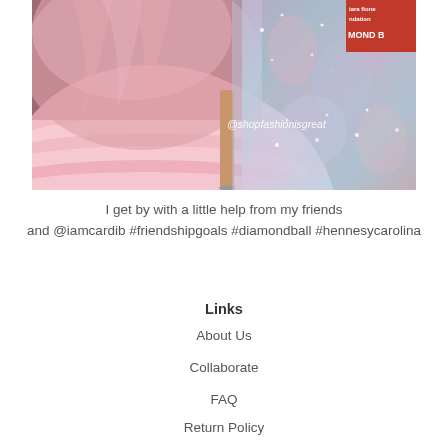[Figure (photo): Photo showing two women in glamorous gowns at what appears to be a formal event. On the left is a pink tiered tulle ballgown, and on the right is a sparkly/sequined multicolored gown. A red banner is visible in the top right corner. A watermark reads @shopfashionisgreat.]
I get by with a little help from my friends and @iamcardib #friendshipgoals #diamondball #hennesycarolina
Links
About Us
Collaborate
FAQ
Return Policy